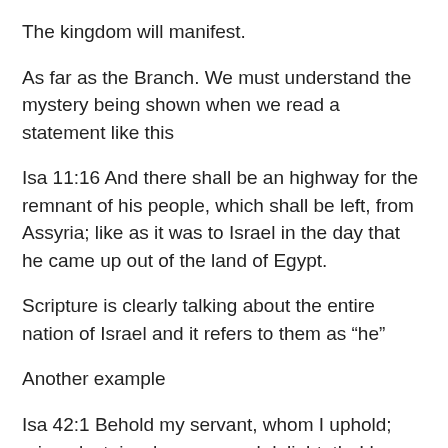The kingdom will manifest.
As far as the Branch. We must understand the mystery being shown when we read a statement like this
Isa 11:16 And there shall be an highway for the remnant of his people, which shall be left, from Assyria; like as it was to Israel in the day that he came up out of the land of Egypt.
Scripture is clearly talking about the entire nation of Israel and it refers to them as “he”
Another example
Isa 42:1 Behold my servant, whom I uphold; mine elect, in whom my soul delighteth; I have